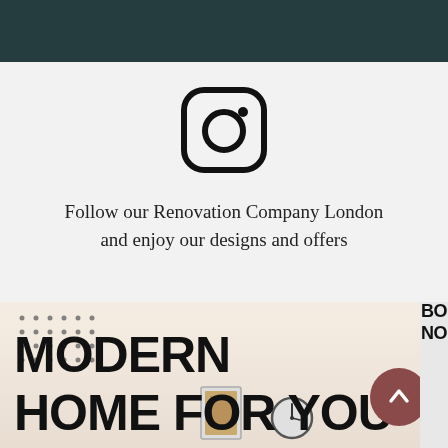[Figure (other): Dark teal/green header bar at top of page]
[Figure (logo): Instagram logo icon — rounded square outline with circle and dot inside]
Follow our Renovation Company London and enjoy our designs and offers
[Figure (photo): Interior home renovation promotional image showing 'MODERN HOME FOR YOU' large bold text overlaid on a room photo with wall art, clock, and lamp. Dot pattern in top left. 'BOOK NOW' button partially visible on right edge. Circular arrow-up button in lower right corner.]